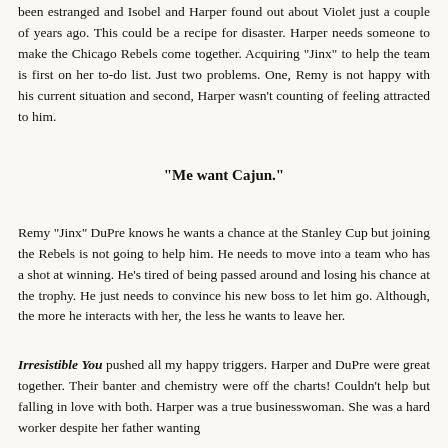been estranged and Isobel and Harper found out about Violet just a couple of years ago. This could be a recipe for disaster. Harper needs someone to make the Chicago Rebels come together. Acquiring "Jinx" to help the team is first on her to-do list. Just two problems. One, Remy is not happy with his current situation and second, Harper wasn't counting of feeling attracted to him.
"Me want Cajun."
Remy "Jinx" DuPre knows he wants a chance at the Stanley Cup but joining the Rebels is not going to help him. He needs to move into a team who has a shot at winning. He's tired of being passed around and losing his chance at the trophy. He just needs to convince his new boss to let him go. Although, the more he interacts with her, the less he wants to leave her.
Irresistible You pushed all my happy triggers. Harper and DuPre were great together. Their banter and chemistry were off the charts! Couldn't help but falling in love with both. Harper was a true businesswoman. She was a hard worker despite her father wanting